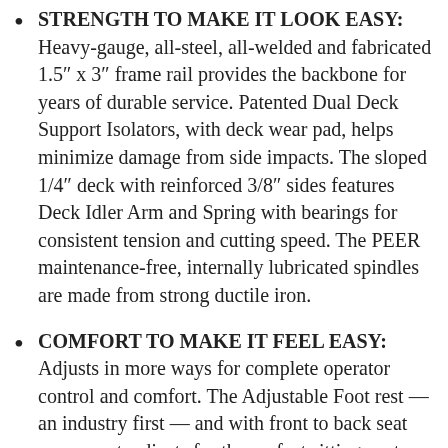STRENGTH TO MAKE IT LOOK EASY: Heavy-gauge, all-steel, all-welded and fabricated 1.5″ x 3″ frame rail provides the backbone for years of durable service. Patented Dual Deck Support Isolators, with deck wear pad, helps minimize damage from side impacts. The sloped 1/4″ deck with reinforced 3/8″ sides features Deck Idler Arm and Spring with bearings for consistent tension and cutting speed. The PEER maintenance-free, internally lubricated spindles are made from strong ductile iron.
COMFORT TO MAKE IT FEEL EASY: Adjusts in more ways for complete operator control and comfort. The Adjustable Foot rest — an industry first — and with front to back seat movement, adjusts for the perfect sitting posture. Even the steering arms are adjustable and tension controllable. Our unique Deck Lift Pedal can be changed to either side and locked in place with a quick twist of our Deck Lift Dial.
COMFORT AND CONTROL: From the ergonomically designed and adjustable seat, you're in control of a powerful, high-performance cutting machine. Steering arms can be adjusted for position and tension for